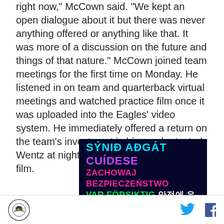right now," McCown said. "We kept an open dialogue about it but there was never anything offered or anything like that. It was more of a discussion on the future and things of that nature." McCown joined team meetings for the first time on Monday. He listened in on team and quarterback virtual meetings and watched practice film once it was uploaded into the Eagles' video system. He immediately offered a return on the team's investment in him, as he texted Wentz at night to go over what he saw on film.
[Figure (infographic): Dark navy banner ad with multilingual safety messages: 'SÝNIĐ AÐGÁT' in cyan, 'CUÍDESE' in purple, 'ZACHOWAJ BEZPIECZEŃSTWO' in pink/magenta, 'VAR FÖRSIKTIG' in green, '안전에 유의하세요' in white/green]
Logo | Twitter icon | Facebook icon